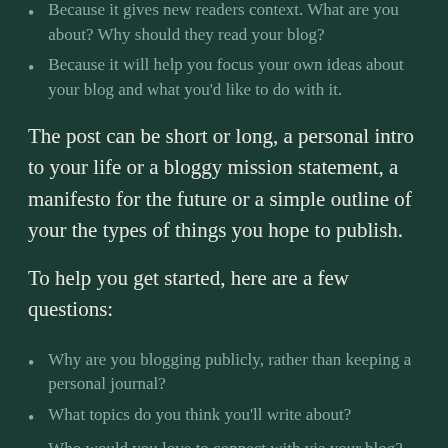Because it gives new readers context. What are you about? Why should they read your blog?
Because it will help you focus your own ideas about your blog and what you'd like to do with it.
The post can be short or long, a personal intro to your life or a bloggy mission statement, a manifesto for the future or a simple outline of your the types of things you hope to publish.
To help you get started, here are a few questions:
Why are you blogging publicly, rather than keeping a personal journal?
What topics do you think you'll write about?
Who would you love to connect with via your blog?